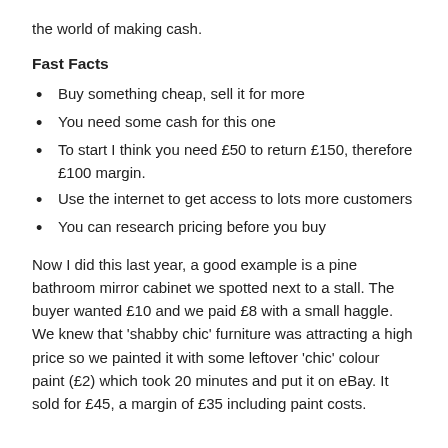the world of making cash.
Fast Facts
Buy something cheap, sell it for more
You need some cash for this one
To start I think you need £50 to return £150, therefore £100 margin.
Use the internet to get access to lots more customers
You can research pricing before you buy
Now I did this last year, a good example is a pine bathroom mirror cabinet we spotted next to a stall. The buyer wanted £10 and we paid £8 with a small haggle. We knew that 'shabby chic' furniture was attracting a high price so we painted it with some leftover 'chic' colour paint (£2) which took 20 minutes and put it on eBay. It sold for £45, a margin of £35 including paint costs.